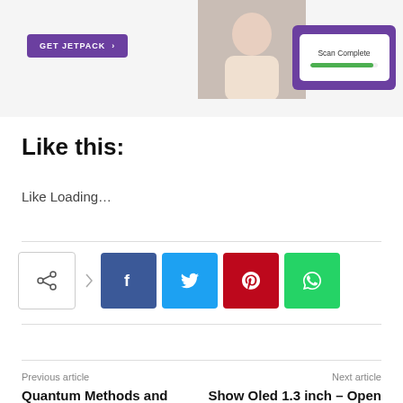[Figure (screenshot): Top banner with GET JETPACK button on purple background and scan complete card with green progress bar on right side]
Like this:
Like Loading...
[Figure (infographic): Social share buttons row: share icon box, Facebook, Twitter, Pinterest, WhatsApp]
Previous article
Quantum Methods and Propeller Aero Associate
Next article
Show Oled 1.3 inch – Open Electronics